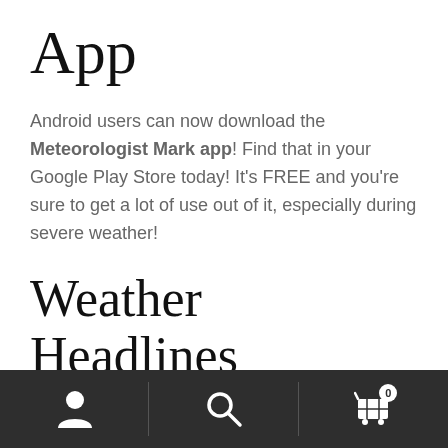App
Android users can now download the Meteorologist Mark app! Find that in your Google Play Store today! It's FREE and you're sure to get a lot of use out of it, especially during severe weather!
Weather Headlines
Hot & Dry Tuesday
Best Rain Chance Comes Thursday